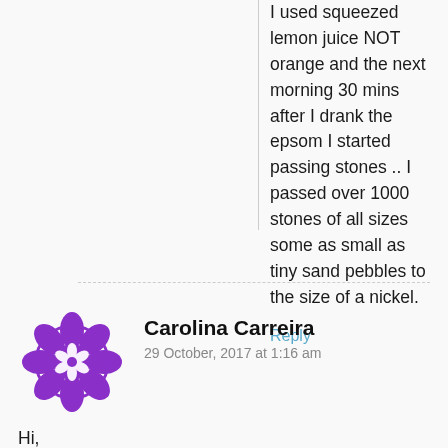I used squeezed lemon juice NOT orange and the next morning 30 mins after I drank the epsom I started passing stones .. I passed over 1000 stones of all sizes some as small as tiny sand pebbles to the size of a nickel.
Reply
Carolina Carreira
29 October, 2017 at 1:16 am
Hi,
Can you suggest good brands of epsom salt? I'm terrified to chose one that will cause headaches or that won't work.

Or if I was to use the magnesium